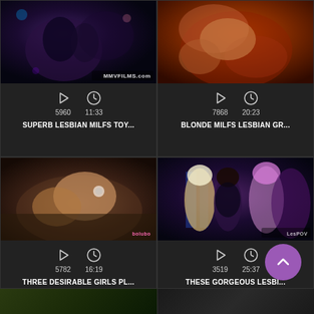[Figure (screenshot): Video thumbnail 1 - dark nightclub scene]
5960  11:33
SUPERB LESBIAN MILFS TOY...
[Figure (screenshot): Video thumbnail 2 - close-up scene with red/burgundy background]
7868  20:23
BLONDE MILFS LESBIAN GR...
[Figure (screenshot): Video thumbnail 3 - close-up scene]
5782  16:19
THREE DESIRABLE GIRLS PL...
[Figure (screenshot): Video thumbnail 4 - three women in costume scene]
3519  25:37
THESE GORGEOUS LESBI...